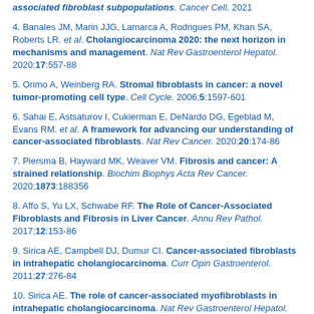associated fibroblast subpopulations. Cancer Cell. 2021
4. Banales JM, Marin JJG, Lamarca A, Rodrigues PM, Khan SA, Roberts LR. et al. Cholangiocarcinoma 2020: the next horizon in mechanisms and management. Nat Rev Gastroenterol Hepatol. 2020;17:557-88
5. Orimo A, Weinberg RA. Stromal fibroblasts in cancer: a novel tumor-promoting cell type. Cell Cycle. 2006;5:1597-601
6. Sahai E, Astsaturov I, Cukierman E, DeNardo DG, Egeblad M, Evans RM. et al. A framework for advancing our understanding of cancer-associated fibroblasts. Nat Rev Cancer. 2020;20:174-86
7. Piersma B, Hayward MK, Weaver VM. Fibrosis and cancer: A strained relationship. Biochim Biophys Acta Rev Cancer. 2020;1873:188356
8. Affo S, Yu LX, Schwabe RF. The Role of Cancer-Associated Fibroblasts and Fibrosis in Liver Cancer. Annu Rev Pathol. 2017;12:153-86
9. Sirica AE, Campbell DJ, Dumur CI. Cancer-associated fibroblasts in intrahepatic cholangiocarcinoma. Curr Opin Gastroenterol. 2011;27:276-84
10. Sirica AE. The role of cancer-associated myofibroblasts in intrahepatic cholangiocarcinoma. Nat Rev Gastroenterol Hepatol. 2011;9:44-54
11. Zhu Y, Wen L, Shao S, Tan Y, Meng T, Yang X. et al. Inhibition of tumor-promoting stroma to enforce subsequently targeting AT1R on tumor cells by pathological inspired micelles. Biomaterials.